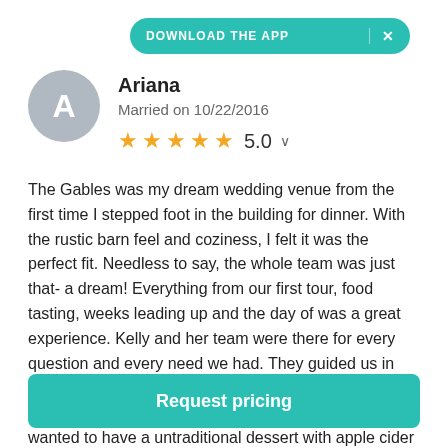DOWNLOAD THE APP  ×
Ariana
Married on 10/22/2016
★★★★★ 5.0
The Gables was my dream wedding venue from the first time I stepped foot in the building for dinner. With the rustic barn feel and coziness, I felt it was the perfect fit. Needless to say, the whole team was just that- a dream! Everything from our first tour, food tasting, weeks leading up and the day of was a great experience. Kelly and her team were there for every question and every need we had. They guided us in each decision and were attentive to our needs. They really made my vision a reality. For example, we wanted to have a untraditional dessert with apple cider
Request pricing